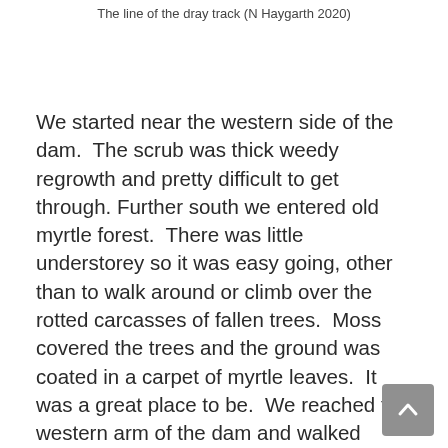The line of the dray track (N Haygarth 2020)
We started near the western side of the dam.  The scrub was thick weedy regrowth and pretty difficult to get through. Further south we entered old myrtle forest.  There was little understorey so it was easy going, other than to walk around or climb over the rotted carcasses of fallen trees.  Moss covered the trees and the ground was coated in a carpet of myrtle leaves.  It was a great place to be.  We reached the western arm of the dam and walked through the gentle serenity of the forest.  It seemed untouched.  However, we had started to notice a few signs of logging but they were